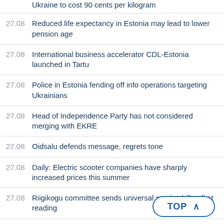Ukraine to cost 90 cents per kilogram
27.08 Reduced life expectancy in Estonia may lead to lower pension age
27.08 International business accelerator CDL-Estonia launched in Tartu
27.08 Police in Estonia fending off info operations targeting Ukrainians
27.08 Head of Independence Party has not considered merging with EKRE
27.08 Oidsalu defends message, regrets tone
27.08 Daily: Electric scooter companies have sharply increased prices this summer
27.08 Riigikogu committee sends universal service bill to first reading
27.08 Tallinn, Tartu science NATO innovation ac...